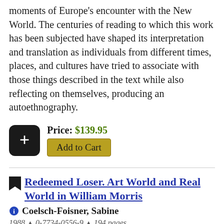moments of Europe's encounter with the New World. The centuries of reading to which this work has been subjected have shaped its interpretation and translation as individuals from different times, places, and cultures have tried to associate with those things described in the text while also reflecting on themselves, producing an autoethnography.
Price: $139.95
Add to Cart
Redeemed Loser. Art World and Real World in William Morris
Coelsch-Foisner, Sabine
1988 ▲ 0-7734-0556-9 ▲ 194 pages
Interprets Morris's early work in terms of unifying concepts as both derivable from